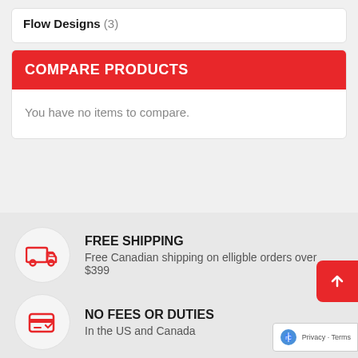Flow Designs (3)
COMPARE PRODUCTS
You have no items to compare.
FREE SHIPPING
Free Canadian shipping on elligble orders over $399
NO FEES OR DUTIES
In the US and Canada